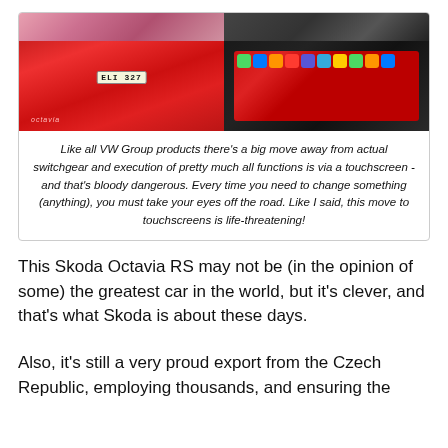[Figure (photo): Four-panel photo collage of a red Skoda Octavia RS: top row shows pink/magenta car exterior and dark grille close-up; bottom row shows red car rear with license plate ELI327 and Octavia badge, and a touchscreen infotainment display showing app icons.]
Like all VW Group products there's a big move away from actual switchgear and execution of pretty much all functions is via a touchscreen - and that's bloody dangerous. Every time you need to change something (anything), you must take your eyes off the road. Like I said, this move to touchscreens is life-threatening!
This Skoda Octavia RS may not be (in the opinion of some) the greatest car in the world, but it's clever, and that's what Skoda is about these days.
Also, it's still a very proud export from the Czech Republic, employing thousands, and ensuring the